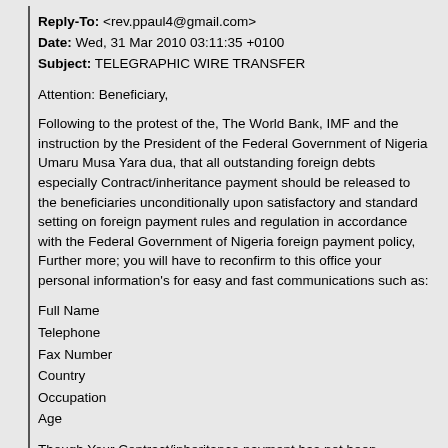Reply-To: <rev.ppaul4@gmail.com>
Date: Wed, 31 Mar 2010 03:11:35 +0100
Subject: TELEGRAPHIC WIRE TRANSFER
Attention: Beneficiary,
Following to the protest of the, The World Bank, IMF and the instruction by the President of the Federal Government of Nigeria Umaru Musa Yara dua, that all outstanding foreign debts especially Contract/inheritance payment should be released to the beneficiaries unconditionally upon satisfactory and standard setting on foreign payment rules and regulation in accordance with the Federal Government of Nigeria foreign payment policy, Further more; you will have to reconfirm to this office your personal information's for easy and fast communications such as:
Full Name
Telephone
Fax Number
Country
Occupation
Age
Though Your Contract/inheritance payment has not been released to you for quite some time due to your inability to satisfy the transfer obligation, Meanwhile, One Mr. Danilo A. Barbosa of P.O.Box 11.116 CEP 05422-970 Sao Paulo SP Brasil has today submitted a report in regards to your approved payment which he claimed that you have